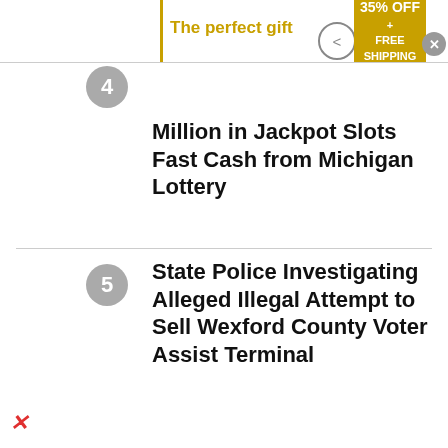The perfect gift | < | > | 35% OFF + FREE SHIPPING
4 Million in Jackpot Slots Fast Cash from Michigan Lottery
5 State Police Investigating Alleged Illegal Attempt to Sell Wexford County Voter Assist Terminal
6 Clare County Animal Control Working to Save Dog Stranded On Cranberry Lake Island
[Figure (infographic): Mackinac Island advertisement banner with stylized text on blue background]